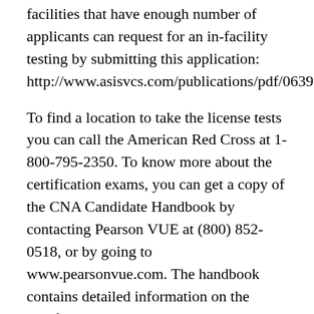facilities that have enough number of applicants can request for an in-facility testing by submitting this application: http://www.asisvcs.com/publications/pdf/06391
To find a location to take the license tests you can call the American Red Cross at 1-800-795-2350. To know more about the certification exams, you can get a copy of the CNA Candidate Handbook by contacting Pearson VUE at (800) 852-0518, or by going to www.pearsonvue.com. The handbook contains detailed information on the certification exam, as well as sample tests, which candidates can practice on.